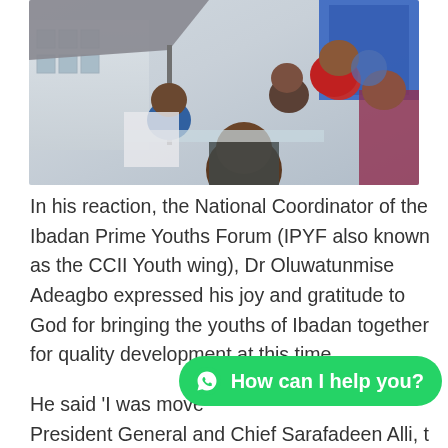[Figure (photo): Group selfie photo of several young people outdoors at an event, with a building and canopy structure visible in the background.]
In his reaction, the National Coordinator of the Ibadan Prime Youths Forum (IPYF also known as the CCII Youth wing), Dr Oluwatunmise Adeagbo expressed his joy and gratitude to God for bringing the youths of Ibadan together for quality development at this time.
He said 'I was move
President General and Chief Sarafadeen Alli, the